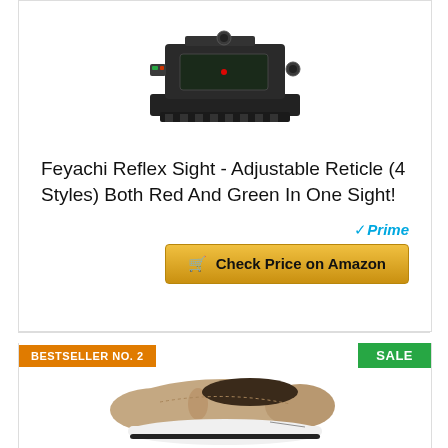[Figure (photo): Feyachi reflex sight, a black tactical gun sight with red/green reticle, shown on white background]
Feyachi Reflex Sight - Adjustable Reticle (4 Styles) Both Red And Green In One Sight!
Prime
Check Price on Amazon
BESTSELLER NO. 2
SALE
[Figure (photo): Tan/brown suede slip-on sneaker shoe with white sole, shown on white background]